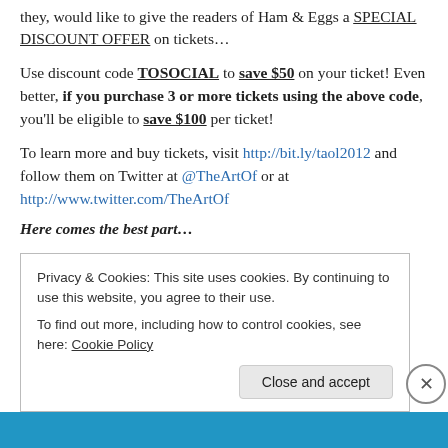they, would like to give the readers of Ham & Eggs a SPECIAL DISCOUNT OFFER on tickets…
Use discount code TOSOCIAL to save $50 on your ticket! Even better, if you purchase 3 or more tickets using the above code, you'll be eligible to save $100 per ticket!
To learn more and buy tickets, visit http://bit.ly/taol2012 and follow them on Twitter at @TheArtOf or at http://www.twitter.com/TheArtOf
Here comes the best part…
Privacy & Cookies: This site uses cookies. By continuing to use this website, you agree to their use.
To find out more, including how to control cookies, see here: Cookie Policy
Close and accept